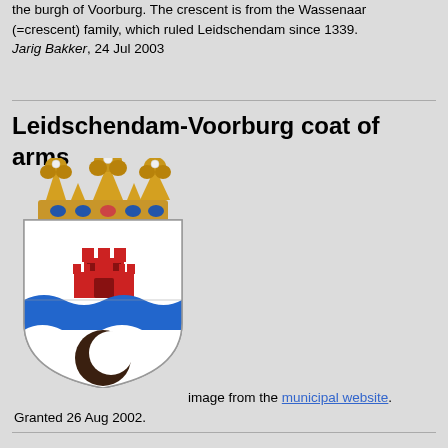the burgh of Voorburg. The crescent is from the Wassenaar (=crescent) family, which ruled Leidschendam since 1339. Jarig Bakker, 24 Jul 2003
Leidschendam-Voorburg coat of arms
[Figure (illustration): Coat of arms of Leidschendam-Voorburg: a shield with a red castle tower in the upper half on white, a blue wavy horizontal band in the middle representing a river, and a dark brown crescent moon on white in the lower half. Above the shield is a golden municipal crown.]
image from the municipal website.
Granted 26 Aug 2002.